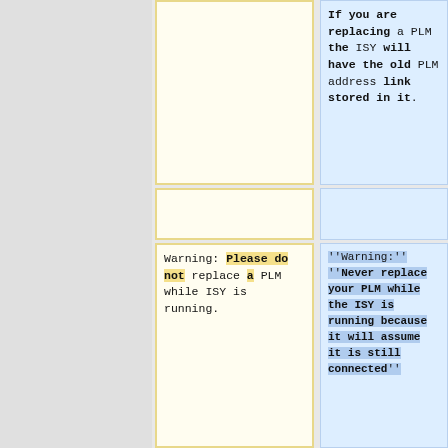If you are replacing a PLM the ISY will have the old PLM address link stored in it.
Warning: Please do not replace a PLM while ISY is running.
''Warning:'' ''Never replace your PLM while the ISY is running because it will assume it is still connected